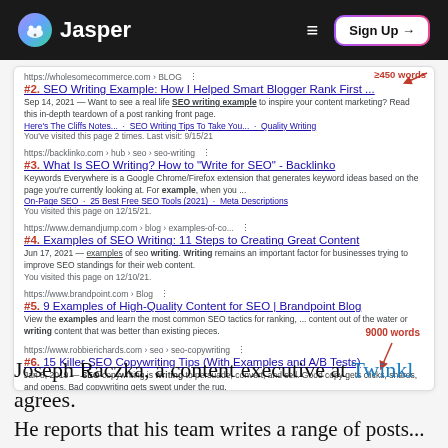Jasper | Sign Up →
[Figure (screenshot): Google search results screenshot showing SEO writing results #2 through #6, with red arrow annotations pointing to result #2 and result #6 with labels '9000 words']
Joseph Raczka, a content executive at Twinkl agrees. He reports that his team writes a range of posts...